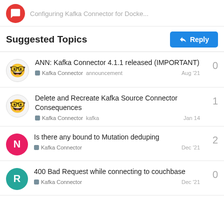Configuring Kafka Connector for Docke...
Suggested Topics
ANN: Kafka Connector 4.1.1 released (IMPORTANT)
Kafka Connector  announcement
Aug '21
0
Delete and Recreate Kafka Source Connector Consequences
Kafka Connector  kafka
Jan 14
1
Is there any bound to Mutation deduping
Kafka Connector
Dec '21
2
400 Bad Request while connecting to couchbase
Kafka Connector
Dec '21
0